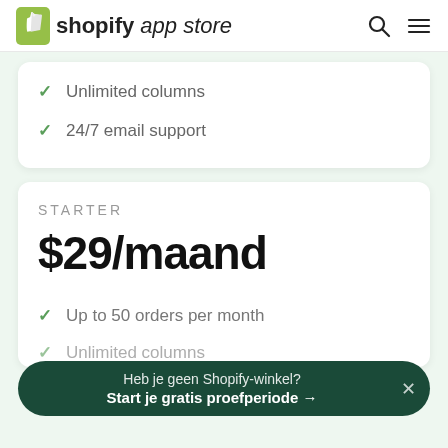shopify app store
Unlimited columns
24/7 email support
STARTER
$29/maand
Up to 50 orders per month
Unlimited columns
Heb je geen Shopify-winkel? Start je gratis proefperiode →